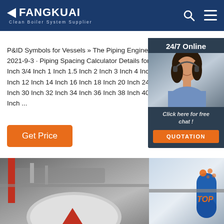FANGKUAI — Clean Boiler System Supplier
P&ID Symbols for Vessels » The Piping Engineering 2021-9-3 · Piping Spacing Calculator Details for Inch 3/4 Inch 1 Inch 1.5 Inch 2 Inch 3 Inch 4 Inch Inch 12 Inch 14 Inch 16 Inch 18 Inch 20 Inch 24 Inch 30 Inch 32 Inch 34 Inch 36 Inch 38 Inch 40 Inch ...
Get Price
[Figure (photo): Customer service representative with headset, 24/7 Online chat widget with QUOTATION button]
[Figure (photo): Industrial boiler machinery and equipment photographs at the bottom of the page]